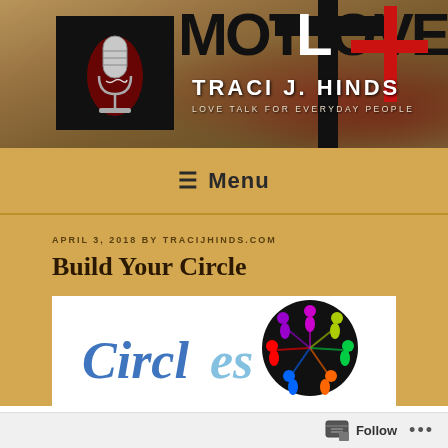[Figure (illustration): Website header banner with dark tan/brown textured background, black square with microphone image on left, large bold MOT+LOVE text with red plus sign graphic, site title TRACI J. HINDS and tagline LOVE TALK FOR EVERYDAY PEOPLE]
☰ Menu
APRIL 3, 2018 BY TRACIJHINDS.COM
Build Your Circle
[Figure (illustration): Partial article image showing circular logo with colorful figures/people on black background circle, and cursive Circle text on white background]
Follow ...